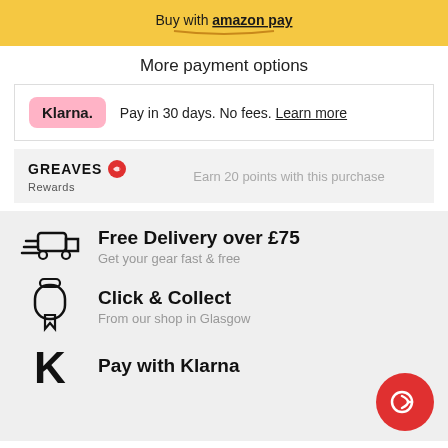[Figure (logo): Amazon Pay yellow banner with 'Buy with amazon pay' text and Amazon logo]
More payment options
[Figure (logo): Klarna logo (pink rounded rectangle with 'Klarna.' text) with message: Pay in 30 days. No fees. Learn more]
[Figure (logo): Greaves Rewards logo with text: Earn 20 points with this purchase]
Free Delivery over £75
Get your gear fast & free
Click & Collect
From our shop in Glasgow
Pay with Klarna